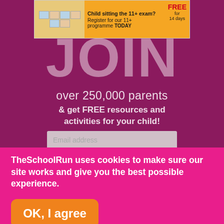[Figure (screenshot): Advertisement banner for 11+ exam programme - 'Child sitting the 11+ exam? Register for our 11+ programme TODAY - FREE for 14 days']
JOIN
over 250,000 parents
& get FREE resources and activities for your child!
Email address
I accept the terms and conditions
SIGN UP FREE
TheSchoolRun uses cookies to make sure our site works and give you the best possible experience.
Click here if you'd like to find out more about the cookies we use.
OK, I agree